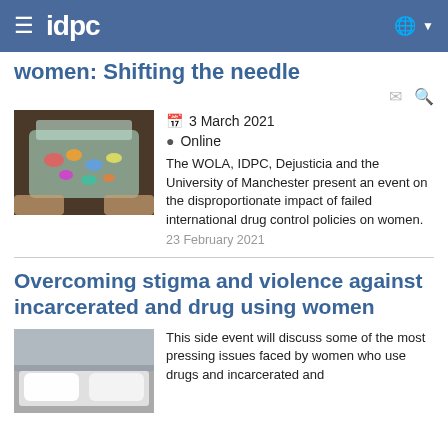IDPC
women: Shifting the needle
3 March 2021
Online
[Figure (photo): Hands holding a box of colorful pills and medications]
The WOLA, IDPC, Dejusticia and the University of Manchester present an event on the disproportionate impact of failed international drug control policies on women.
23 February 2021
Overcoming stigma and violence against incarcerated and drug using women
[Figure (photo): A bed with white pillows, suggesting incarceration or hospital setting]
This side event will discuss some of the most pressing issues faced by women who use drugs and incarcerated and